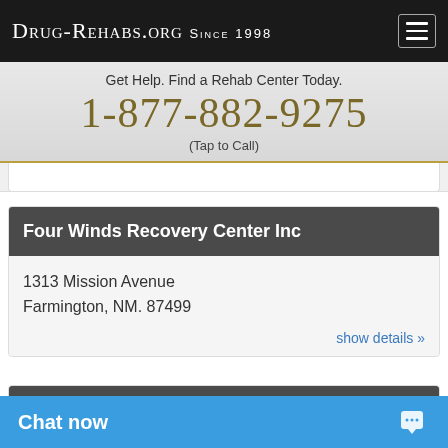Drug-Rehabs.org Since 1998
Get Help. Find a Rehab Center Today.
1-877-882-9275
(Tap to Call)
Four Winds Recovery Center Inc
1313 Mission Avenue
Farmington, NM. 87499
show details »
Humphrey House
3821 West College L...
Hobbs, NM. 88242
Chat now